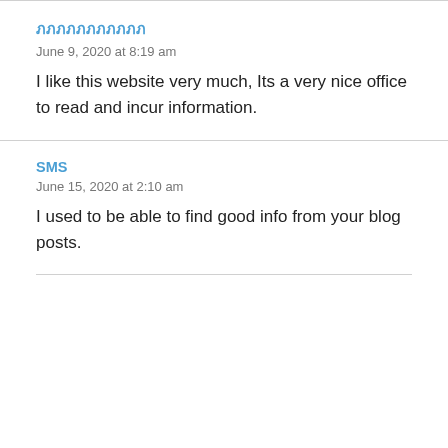ภภภภภภภภภภภ
June 9, 2020 at 8:19 am
I like this website very much, Its a very nice office to read and incur information.
SMS
June 15, 2020 at 2:10 am
I used to be able to find good info from your blog posts.